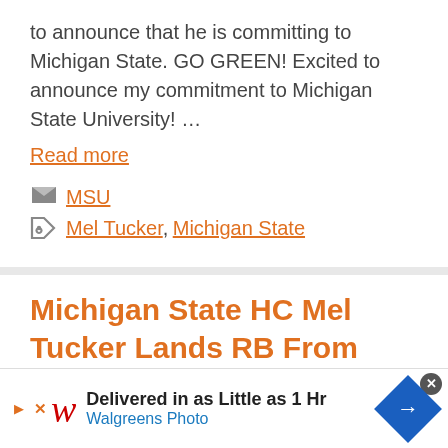to announce that he is committing to Michigan State. GO GREEN! Excited to announce my commitment to Michigan State University! …
Read more
MSU
Mel Tucker, Michigan State
Michigan State HC Mel Tucker Lands RB From Transfer Portal
January 30, 2022 by W.G. Brady
[Figure (other): Advertisement banner: Walgreens Photo - Delivered in as Little as 1 Hr]